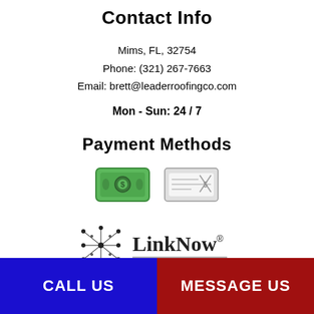Contact Info
Mims, FL, 32754
Phone: (321) 267-7663
Email: brett@leaderroofingco.com
Mon - Sun: 24 / 7
Payment Methods
[Figure (illustration): Two payment method icons: a green cash/money icon and a grey check/cheque icon]
[Figure (logo): LinkNow logo with network node graphic and tagline: THE WEB IS WAITING FOR YOU]
CALL US
MESSAGE US